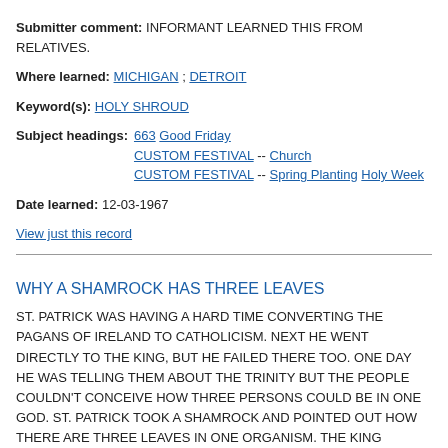Submitter comment: INFORMANT LEARNED THIS FROM RELATIVES.
Where learned: MICHIGAN ; DETROIT
Keyword(s): HOLY SHROUD
Subject headings: 663 Good Friday CUSTOM FESTIVAL -- Church CUSTOM FESTIVAL -- Spring Planting Holy Week
Date learned: 12-03-1967
View just this record
WHY A SHAMROCK HAS THREE LEAVES
ST. PATRICK WAS HAVING A HARD TIME CONVERTING THE PAGANS OF IRELAND TO CATHOLICISM. NEXT HE WENT DIRECTLY TO THE KING, BUT HE FAILED THERE TOO. ONE DAY HE WAS TELLING THEM ABOUT THE TRINITY BUT THE PEOPLE COULDN'T CONCEIVE HOW THREE PERSONS COULD BE IN ONE GOD. ST. PATRICK TOOK A SHAMROCK AND POINTED OUT HOW THERE ARE THREE LEAVES IN ONE ORGANISM. THE KING THOUGHT THIS A LOGICAL EXPLANATION BECAUSE NO ONE COULD DENY IT. THUS HE WAS BAPTIZED AND HIS PEOPLE FOLLOWED HIM.